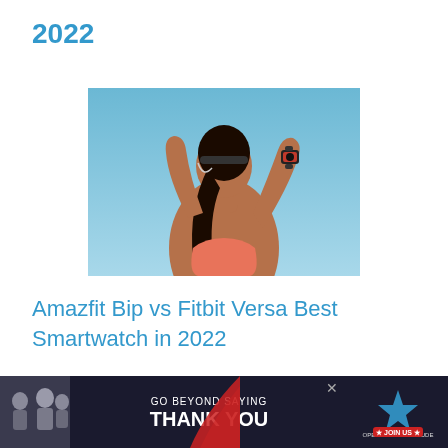2022
[Figure (photo): Woman runner seen from behind with arms raised above her head, wearing a smartwatch on her left wrist, against a blue sky background]
Amazfit Bip vs Fitbit Versa Best Smartwatch in 2022
[Figure (other): Advertisement banner: GO BEYOND SAYING THANK YOU - Operation Gratitude JOIN US, with photo of people and chevron swoosh graphic]